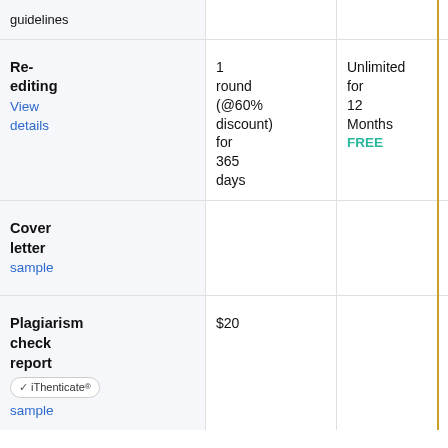| Feature | Basic | Premium | Ultimate |
| --- | --- | --- | --- |
| guidelines |  |  |  |
| Re-editing
View details | 1 round (@60% discount) for 365 days | Unlimited for 12 Months
FREE | Unlimited for 12 Months
FREE |
| Cover letter
sample |  |  |  |
| Plagiarism check report
iThenticate sample | $20 |  | Unlimited rounds
FREE |